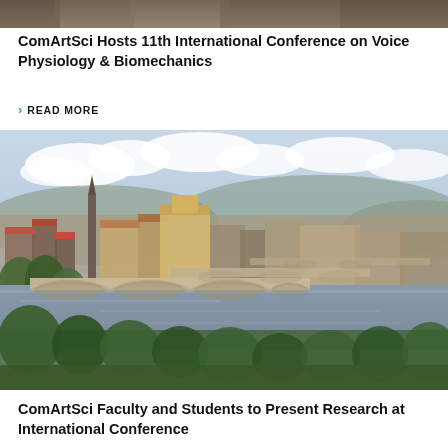[Figure (photo): Partial top edge of a photo above, showing textured background (cropped)]
ComArtSci Hosts 11th International Conference on Voice Physiology & Biomechanics
> READ MORE
[Figure (photo): Aerial view of Prague city with the Vltava River and multiple historic bridges, red-roofed buildings, and lush green trees under a partly cloudy sky]
ComArtSci Faculty and Students to Present Research at International Conference